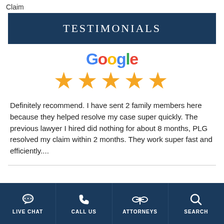Claim
TESTIMONIALS
[Figure (other): Google logo with five gold stars rating]
Definitely recommend. I have sent 2 family members here because they helped resolve my case super quickly. The previous lawyer I hired did nothing for about 8 months, PLG resolved my claim within 2 months. They work super fast and efficiently....
LIVE CHAT | CALL US | ATTORNEYS | SEARCH